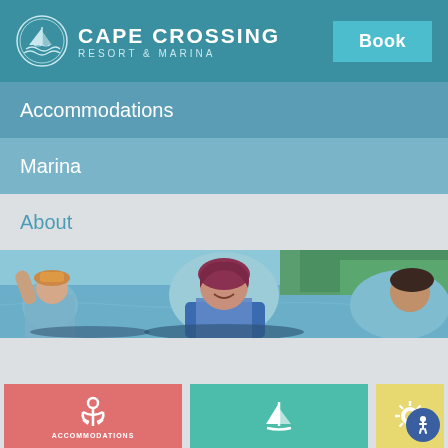[Figure (logo): Cape Crossing Resort & Marina logo with circular emblem showing sailboat and waves]
CAPE CROSSING
RESORT & MARINA
Book
Accommodations
Marina
About
[Figure (photo): People kayaking or canoeing on a lake, woman with auburn/purple hair smiling and wearing a blue life vest, another person waving on the left, green trees and water in background]
[Figure (illustration): Three icon cards at bottom: red card with anchor icon labeled ACCOMMODATIONS, teal card with sailboat icon, yellow card with sun/compass icon, and blue accessibility button]